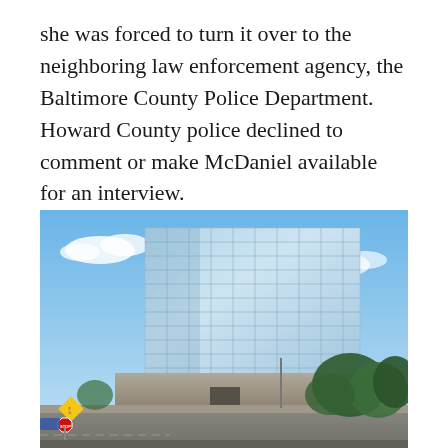she was forced to turn it over to the neighboring law enforcement agency, the Baltimore County Police Department. Howard County police declined to comment or make McDaniel available for an interview.
[Figure (photo): Exterior photo of a large modern glass-curtain-wall office building against a blue sky with scattered clouds. The building has a grid of glass panels reflecting the sky. Below the glass facade is a concrete base structure. In the foreground is a road, a yellow pedestrian crossing warning sign, a stop sign, and trees and shrubs on the right side.]